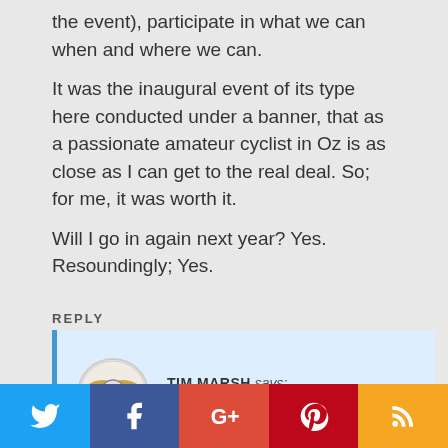the event), participate in what we can when and where we can.
It was the inaugural event of its type here conducted under a banner, that as a passionate amateur cyclist in Oz is as close as I can get to the real deal. So; for me, it was worth it.
Will I go in again next year? Yes. Resoundingly; Yes.
REPLY
TIM MARSH says: December 5, 2016
[Figure (infographic): Social media share bar with Twitter, Facebook, Google+, Pinterest, and RSS icons on colored backgrounds]